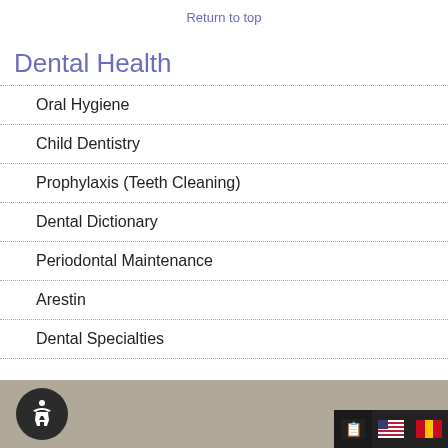Return to top
Dental Health
Oral Hygiene
Child Dentistry
Prophylaxis (Teeth Cleaning)
Dental Dictionary
Periodontal Maintenance
Arestin
Dental Specialties